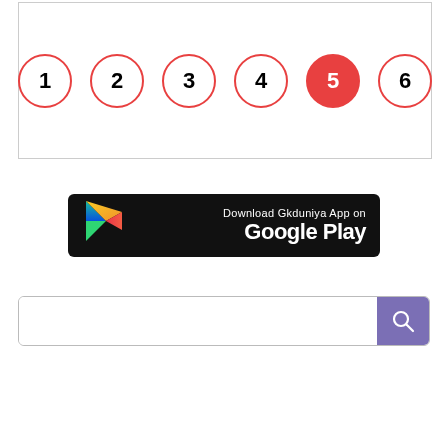[Figure (other): Pagination row with 6 numbered circles (1-6). Circle 5 is active (red filled). Others have red outline only.]
[Figure (other): Download Gkduniya App on Google Play banner with Play Store logo on black background.]
[Figure (other): Search bar with text input area and purple search button with magnifier icon.]